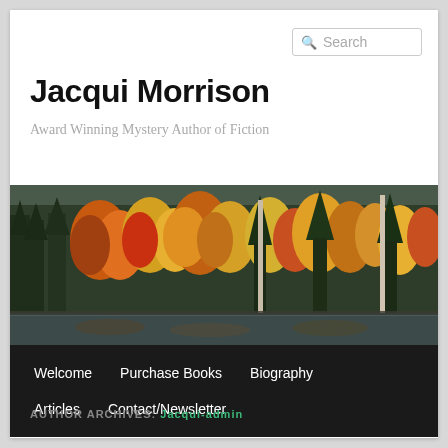Jacqui Morrison
Award Winning Mystery Author of Fiction
[Figure (photo): Autumn forest scene with colorful foliage in shades of orange, yellow, red, and green reflected near a lake or river]
Welcome
Purchase Books
Biography
Articles
Contact/Newsletter
AUTHOR ARCHIVES: Jacqui-admin